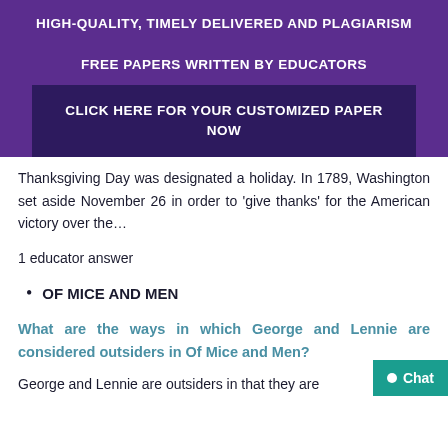HIGH-QUALITY, TIMELY DELIVERED AND PLAGIARISM FREE PAPERS WRITTEN BY EDUCATORS
CLICK HERE FOR YOUR CUSTOMIZED PAPER NOW
Thanksgiving Day was designated a holiday. In 1789, Washington set aside November 26 in order to 'give thanks' for the American victory over the…
1 educator answer
OF MICE AND MEN
What are the ways in which George and Lennie are considered outsiders in Of Mice and Men?
George and Lennie are outsiders in that they are…